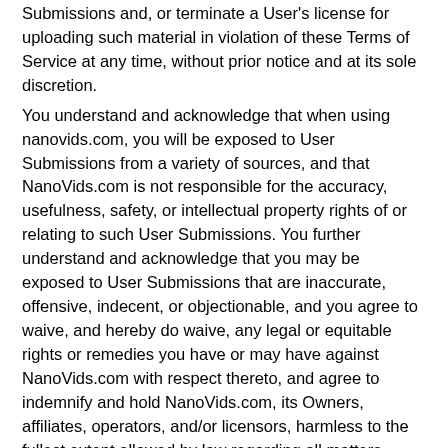Submissions and, or terminate a User's license for uploading such material in violation of these Terms of Service at any time, without prior notice and at its sole discretion.
You understand and acknowledge that when using nanovids.com, you will be exposed to User Submissions from a variety of sources, and that NanoVids.com is not responsible for the accuracy, usefulness, safety, or intellectual property rights of or relating to such User Submissions. You further understand and acknowledge that you may be exposed to User Submissions that are inaccurate, offensive, indecent, or objectionable, and you agree to waive, and hereby do waive, any legal or equitable rights or remedies you have or may have against NanoVids.com with respect thereto, and agree to indemnify and hold NanoVids.com, its Owners, affiliates, operators, and/or licensors, harmless to the fullest extent allowed by law regarding all matters related to your use of the website.
You agree that NanoVids.com may at its sole discretion have the right to refuse to publish, remove, or block access to any User Submission that is available via the Website or other NanoVids.com network or services at any time, for any reason, or for no reason at all, with or without notice.